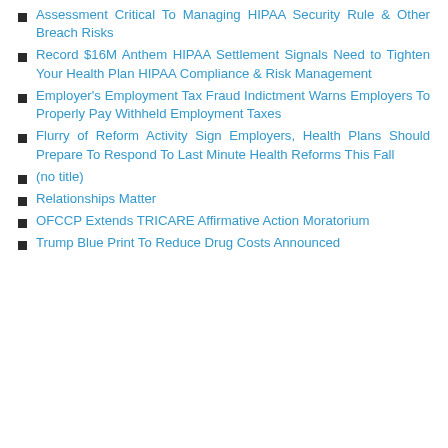Assessment Critical To Managing HIPAA Security Rule & Other Breach Risks
Record $16M Anthem HIPAA Settlement Signals Need to Tighten Your Health Plan HIPAA Compliance & Risk Management
Employer's Employment Tax Fraud Indictment Warns Employers To Properly Pay Withheld Employment Taxes
Flurry of Reform Activity Sign Employers, Health Plans Should Prepare To Respond To Last Minute Health Reforms This Fall
(no title)
Relationships Matter
OFCCP Extends TRICARE Affirmative Action Moratorium
Trump Blue Print To Reduce Drug Costs Announced